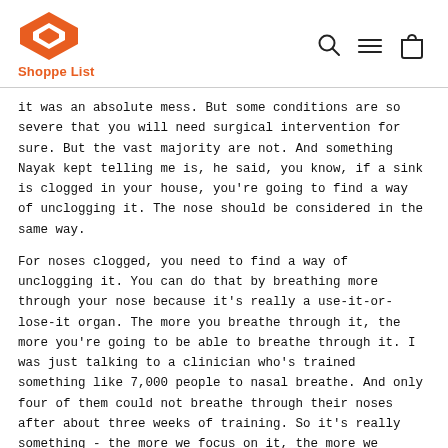Shoppe List
it was an absolute mess. But some conditions are so severe that you will need surgical intervention for sure. But the vast majority are not. And something Nayak kept telling me is, he said, you know, if a sink is clogged in your house, you're going to find a way of unclogging it. The nose should be considered in the same way.
For noses clogged, you need to find a way of unclogging it. You can do that by breathing more through your nose because it's really a use-it-or-lose-it organ. The more you breathe through it, the more you're going to be able to breathe through it. I was just talking to a clinician who's trained something like 7,000 people to nasal breathe. And only four of them could not breathe through their noses after about three weeks of training. So it's really something - the more we focus on it, the more we really